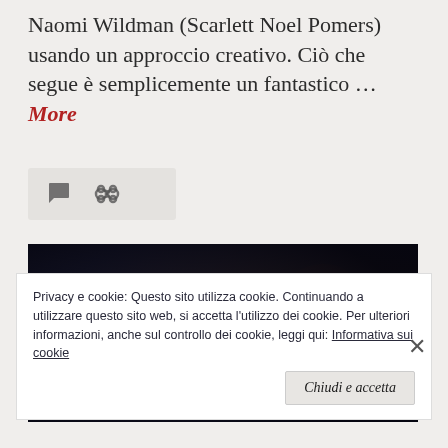Naomi Wildman (Scarlett Noel Pomers) usando un approccio creativo. Ciò che segue è semplicemente un fantastico … More
[Figure (other): Icon bar with comment bubble and link/share icons on light gray background]
[Figure (photo): Dark dramatic photo showing a person's face partially lit from the right side against a very dark background]
Privacy e cookie: Questo sito utilizza cookie. Continuando a utilizzare questo sito web, si accetta l'utilizzo dei cookie. Per ulteriori informazioni, anche sul controllo dei cookie, leggi qui: Informativa sui cookie
Chiudi e accetta